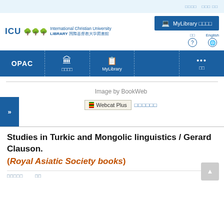ICU International Christian University LIBRARY 国際基督教大学図書館
[Figure (screenshot): ICU Library navigation bar with OPAC, 図書館, MyLibrary, and more menu items on blue background]
Image by BookWeb
Webcat Plus でさがす
Studies in Turkic and Mongolic linguistics / Gerard Clauson.
(Royal Asiatic Society books)
所蔵情報　　詳細